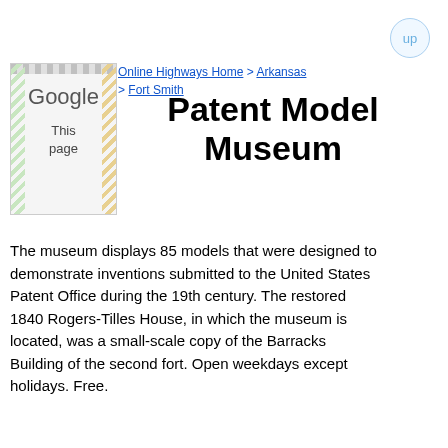[Figure (screenshot): Google thumbnail showing 'This page' text with decorative stripes]
Online Highways Home > Arkansas > Fort Smith
Patent Model Museum
The museum displays 85 models that were designed to demonstrate inventions submitted to the United States Patent Office during the 19th century. The restored 1840 Rogers-Tilles House, in which the museum is located, was a small-scale copy of the Barracks Building of the second fort. Open weekdays except holidays. Free.